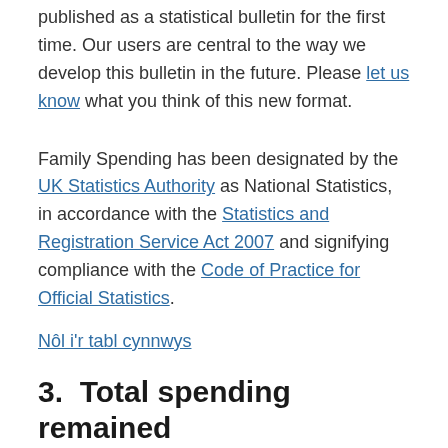published as a statistical bulletin for the first time. Our users are central to the way we develop this bulletin in the future. Please let us know what you think of this new format.
Family Spending has been designated by the UK Statistics Authority as National Statistics, in accordance with the Statistics and Registration Service Act 2007 and signifying compliance with the Code of Practice for Official Statistics.
Nôl i'r tabl cynnwys
3.  Total spending remained